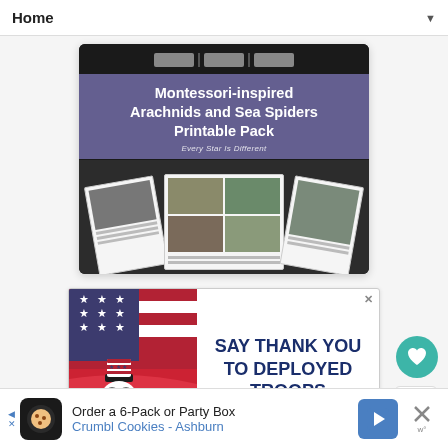Home ▼
[Figure (illustration): Montessori-inspired Arachnids and Sea Spiders Printable Pack product image with purple overlay text and sample printable cards below showing spider and arachnid photos with labels. Subtitle: Every Star Is Different]
[Figure (illustration): Advertisement banner: SAY THANK YOU TO DEPLOYED TROOPS. Features patriotic illustration of an owl in Uncle Sam hat holding American flag with red/white/blue background. Has close X button.]
Order a 6-Pack or Party Box Crumbl Cookies - Ashburn